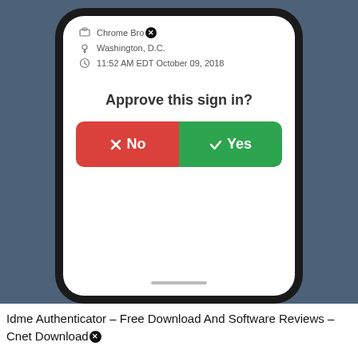[Figure (screenshot): A smartphone screen showing a sign-in approval prompt with Chrome Browser notification from Washington D.C. at 11:52 AM EDT October 09, 2018, asking 'Approve this sign in?' with a red 'No' button and green 'Yes' button.]
Idme Authenticator – Free Download And Software Reviews – Cnet Download